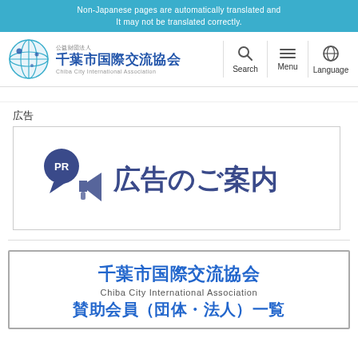Non-Japanese pages are automatically translated and
It may not be translated correctly.
[Figure (logo): Chiba City International Association logo with globe graphic, Japanese text 千葉市国際交流協会 and English subtitle Chiba City International Association, plus Search, Menu, Language navigation icons]
広告
[Figure (illustration): Advertisement banner with PR bubble icon, megaphone graphic, and Japanese text 広告のご案内 (Advertisement Information) in dark blue on white background with border]
[Figure (illustration): Footer box with 千葉市国際交流協会 (Chiba City International Association) and 賛助会員（団体・法人）一覧 in blue bold text]